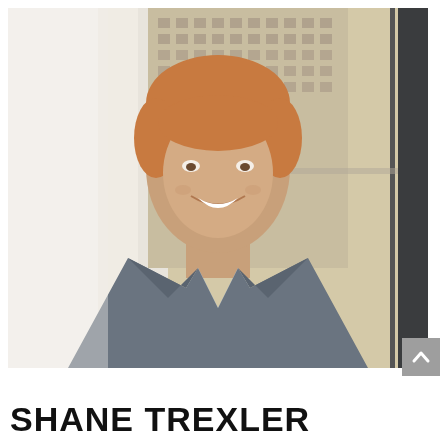[Figure (photo): Professional headshot of Shane Trexler, a young man with reddish-blonde hair, smiling, wearing a grey blazer and light blue shirt, with a city building visible through a window in the background.]
SHANE TREXLER